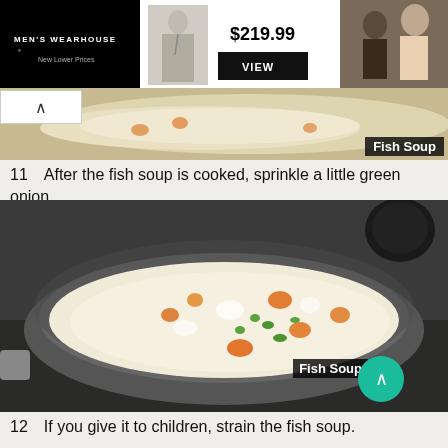[Figure (screenshot): Men's Wearhouse advertisement banner showing a suit for $219.99 with a VIEW button, a man in a grey suit, and a couple at a wedding]
[Figure (photo): Top portion of a pan with creamy fish soup visible from above with orange and white pieces]
11　After the fish soup is cooked, sprinkle a little green onion.
[Figure (photo): Large overhead view of a grey non-stick pan containing creamy white fish soup with orange carrots, green onions, and white fish pieces]
12　If you give it to children, strain the fish soup.